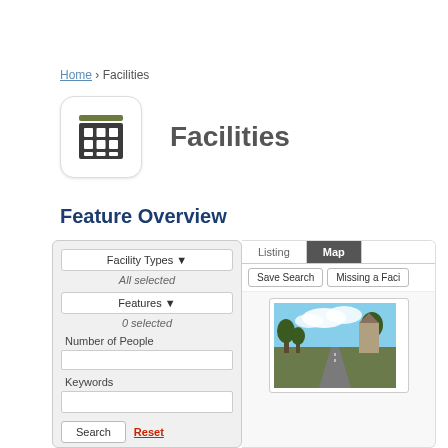Home › Facilities
Facilities
Feature Overview
[Figure (screenshot): Screenshot of Facilities search interface showing Facility Types dropdown with 'All selected', Features dropdown with '0 selected', Number of People text input, Keywords text input, Search and Reset buttons on the left panel; and Listing/Map tabs with Save Search and 'Missing a Faci...' buttons, plus a photo card showing a road/outdoor scene on the right panel.]